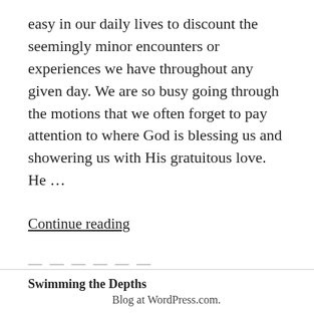easy in our daily lives to discount the seemingly minor encounters or experiences we have throughout any given day. We are so busy going through the motions that we often forget to pay attention to where God is blessing us and showering us with His gratuitous love. He ...
Continue reading
— — — — — —
Swimming the Depths
Blog at WordPress.com.